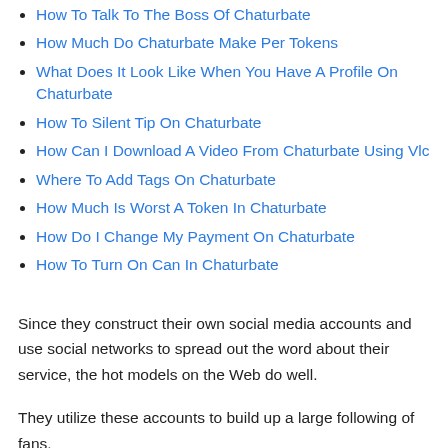How To Talk To The Boss Of Chaturbate
How Much Do Chaturbate Make Per Tokens
What Does It Look Like When You Have A Profile On Chaturbate
How To Silent Tip On Chaturbate
How Can I Download A Video From Chaturbate Using Vlc
Where To Add Tags On Chaturbate
How Much Is Worst A Token In Chaturbate
How Do I Change My Payment On Chaturbate
How To Turn On Can In Chaturbate
Since they construct their own social media accounts and use social networks to spread out the word about their service, the hot models on the Web do well.
They utilize these accounts to build up a large following of fans.